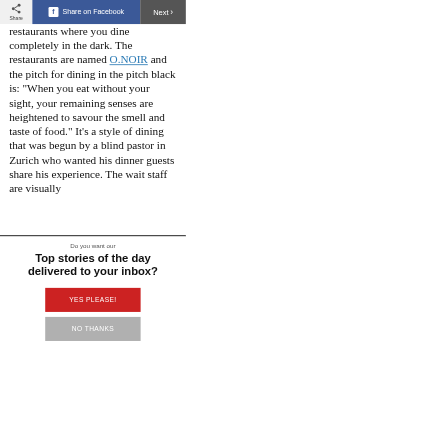Share | Share on Facebook | Next >
restaurants where you dine completely in the dark. The restaurants are named O.NOIR and the pitch for dining in the pitch black is: “When you eat without your sight, your remaining senses are heightened to savour the smell and taste of food.” It’s a style of dining that was begun by a blind pastor in Zurich who wanted his dinner guests share his experience. The wait staff are visually
Do you want our
Top stories of the day delivered to your inbox?
YES PLEASE!
NO THANKS